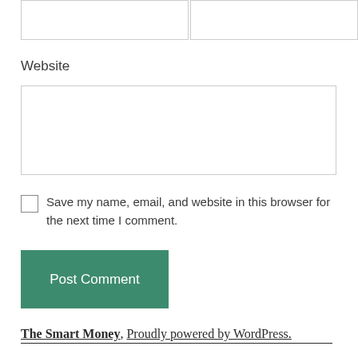Website
Save my name, email, and website in this browser for the next time I comment.
Post Comment
The Smart Money, Proudly powered by WordPress.